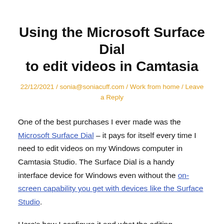Using the Microsoft Surface Dial to edit videos in Camtasia
22/12/2021 / sonia@soniacuff.com / Work from home / Leave a Reply
One of the best purchases I ever made was the Microsoft Surface Dial – it pays for itself every time I need to edit videos on my Windows computer in Camtasia Studio. The Surface Dial is a handy interface device for Windows even without the on-screen capability you get with devices like the Surface Studio.
Here's how I configure it and what the editing experience looks like.